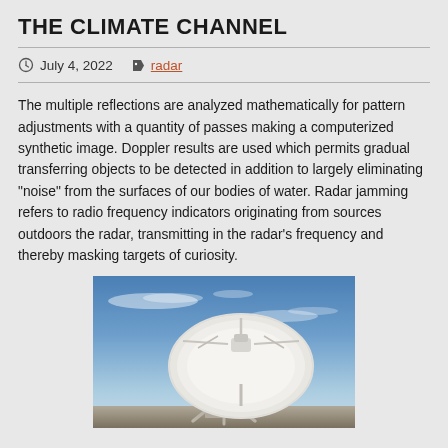THE CLIMATE CHANNEL
July 4, 2022   radar
The multiple reflections are analyzed mathematically for pattern adjustments with a quantity of passes making a computerized synthetic image. Doppler results are used which permits gradual transferring objects to be detected in addition to largely eliminating “noise” from the surfaces of our bodies of water. Radar jamming refers to radio frequency indicators originating from sources outdoors the radar, transmitting in the radar’s frequency and thereby masking targets of curiosity.
[Figure (photo): Large white satellite dish / radar antenna against a blue sky with wispy clouds, photographed from a low angle looking upward.]